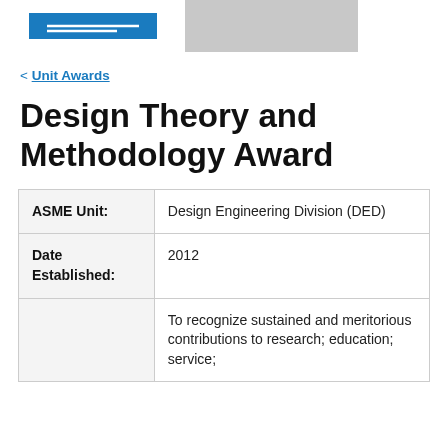ASME Unit Awards
< Unit Awards
Design Theory and Methodology Award
| Field | Value |
| --- | --- |
| ASME Unit: | Design Engineering Division (DED) |
| Date Established: | 2012 |
|  | To recognize sustained and meritorious contributions to research; education; service; |